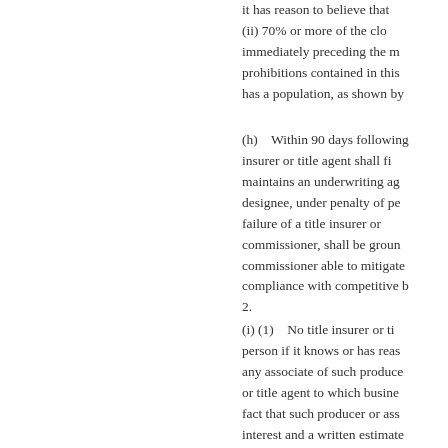it has reason to believe that (ii) 70% or more of the closing services immediately preceding the most recent prohibitions contained in this has a population, as shown by
(h)    Within 90 days following, insurer or title agent shall fi maintains an underwriting ag designee, under penalty of pe failure of a title insurer or commissioner, shall be groun commissioner able to mitigate compliance with competitive b 2.
(i) (1)    No title insurer or ti person if it knows or has reas any associate of such produce or title agent to which busine fact that such producer or ass interest and a written estimate services. Such disclosure sha agent in which the referring